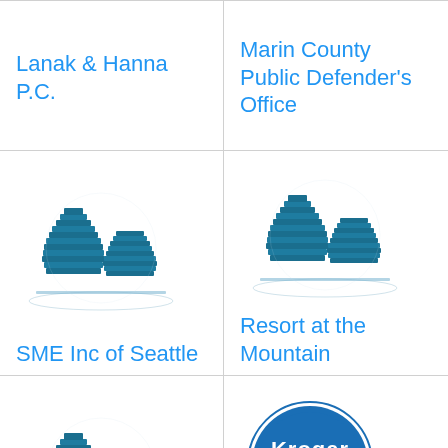Lanak & Hanna P.C.
Marin County Public Defender's Office
[Figure (illustration): Generic office building icon (blue, multi-story)]
SME Inc of Seattle
[Figure (illustration): Generic office building icon (blue, multi-story)]
Resort at the Mountain
[Figure (illustration): Generic office building icon (blue, multi-story)]
Danville Services
[Figure (logo): Kroger logo - blue circle with white Kroger text]
Kroger, Inc
Retail company